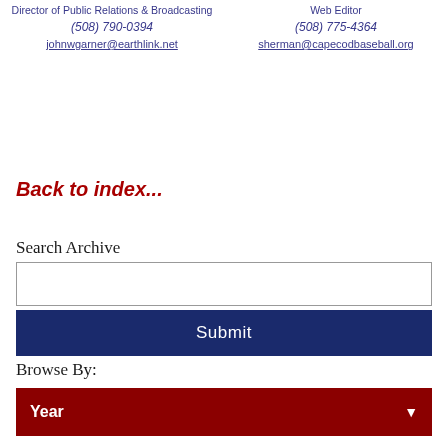Director of Public Relations & Broadcasting
Web Editor
(508) 790-0394
(508) 775-4364
johnwgarner@earthlink.net
sherman@capecodbaseball.org
Back to index...
Search Archive
Submit
Browse By:
Year